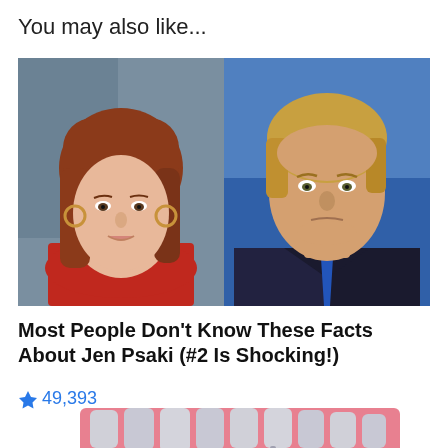You may also like...
[Figure (photo): Two side-by-side photos: left shows a woman with red hair wearing a red top, right shows a man with blonde hair in a dark suit with blue tie against a blue background.]
Most People Don't Know These Facts About Jen Psaki (#2 Is Shocking!)
🔥 49,393
[Figure (illustration): Illustration of dental implants showing teeth and roots on a pink gum background.]